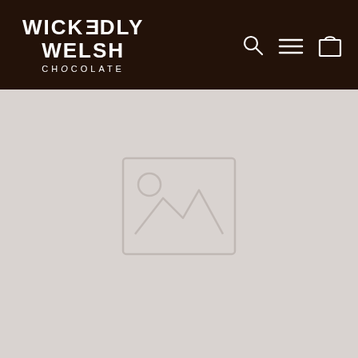[Figure (logo): Wickedly Welsh Chocolate logo with navigation icons (search, menu, cart) on dark brown header bar]
[Figure (other): Placeholder image icon (broken image/no-image placeholder) centered on light grey background]